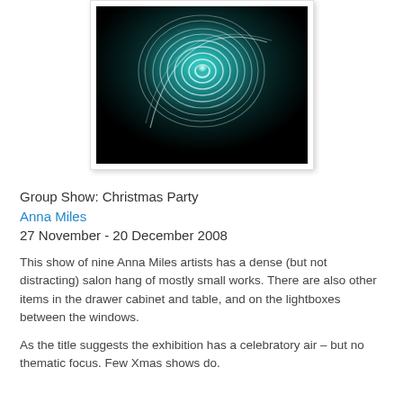[Figure (photo): Dark background photo showing glowing white spiral/circular light trails against a dark teal-black background, reminiscent of light painting photography. The image is framed with a white border and subtle shadow.]
Group Show: Christmas Party
Anna Miles
27 November - 20 December 2008
This show of nine Anna Miles artists has a dense (but not distracting) salon hang of mostly small works. There are also other items in the drawer cabinet and table, and on the lightboxes between the windows.
As the title suggests the exhibition has a celebratory air – but no thematic focus. Few Xmas shows do.